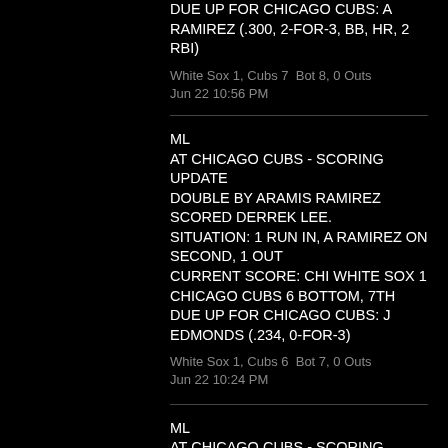DUE UP FOR CHICAGO CUBS: A RAMIREZ (.300, 2-FOR-3, BB, HR, 2 RBI)
White Sox 1, Cubs 7  Bot 8, 0 Outs
Jun 22 10:56 PM
ML
AT CHICAGO CUBS - SCORING UPDATE
DOUBLE BY ARAMIS RAMIREZ SCORED DERREK LEE.
SITUATION: 1 RUN IN, A RAMIREZ ON SECOND, 1 OUT
CURRENT SCORE: CHI WHITE SOX 1
CHICAGO CUBS 6 BOTTOM, 7TH
DUE UP FOR CHICAGO CUBS: J EDMONDS (.234, 0-FOR-3)
White Sox 1, Cubs 6  Bot 7, 0 Outs
Jun 22 10:24 PM
ML
AT CHICAGO CUBS - SCORING UPDATE
SINGLE BY JOE CREDE SCORED JERMAINE DYE.
SITUATION: 1 RUN IN, A CREDE...